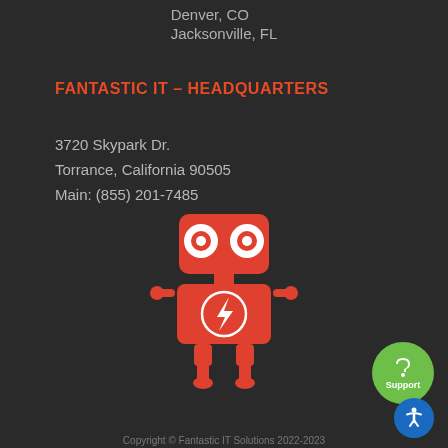Denver, CO
Jacksonville, FL
FANTASTIC IT – HEADQUARTERS
3720 Skypark Dr.
Torrance, California 90505
Main: (855) 201-7485
[Figure (illustration): Red cartoon robot mascot with circular eyes, lightning bolt chest emblem, and stick arms and legs]
Copyright © Fantastic IT Solutions 2022-2023